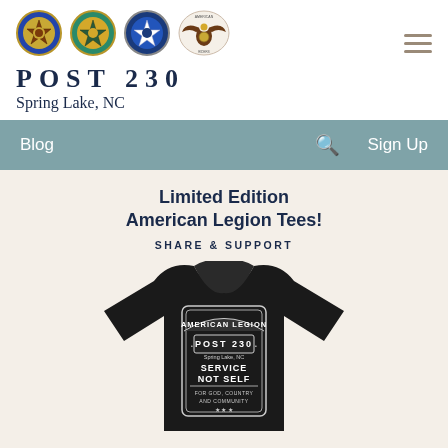[Figure (logo): Four American Legion and related organization badge logos in a row]
POST 230
Spring Lake, NC
[Figure (other): Hamburger menu icon (three horizontal lines)]
Blog   🔍   Sign Up
Limited Edition American Legion Tees!
SHARE & SUPPORT
[Figure (photo): Black t-shirt with American Legion Post 230 Spring Lake NC design reading SERVICE NOT SELF FOR GOD COUNTRY AND COMMUNITY]